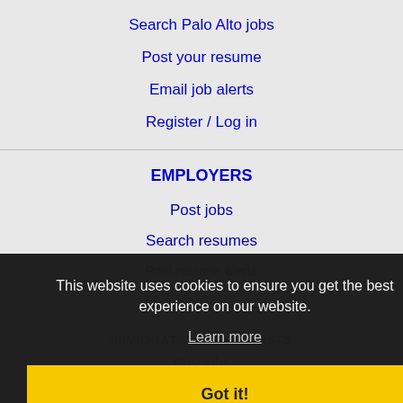Search Palo Alto jobs
Post your resume
Email job alerts
Register / Log in
EMPLOYERS
Post jobs
Search resumes
Post resume alerts
This website uses cookies to ensure you get the best experience on our website.
Learn more
Got it!
IMMIGRATION SPECIALISTS
Post jobs
Immigration FAQs
LEARN MORE